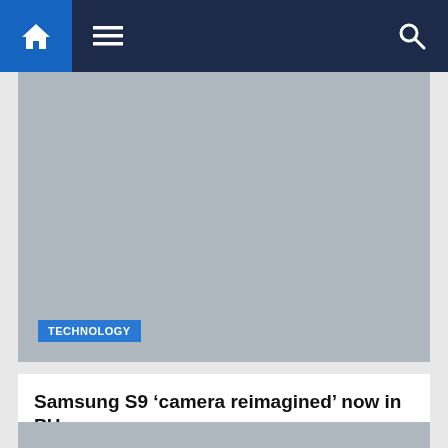Navigation bar with home, menu, and search icons
[Figure (photo): Grey image placeholder with TECHNOLOGY badge overlay]
Samsung S9 ‘camera reimagined’ now in PH
4 years ago   Philippine News Agency
MANILA — These days, people seem to love sharing photos of their travels, food trips, moments, and many other things. Others even express how they feel through photos. Considering this, Samsung…